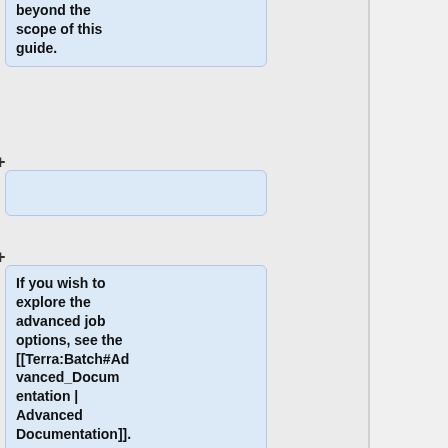beyond the scope of this guide.
If you wish to explore the advanced job options, see the [[Terra:Batch#Advanced_Documentation | Advanced Documentation]].
=== Environment Variables ===
All the nodes enlisted for the